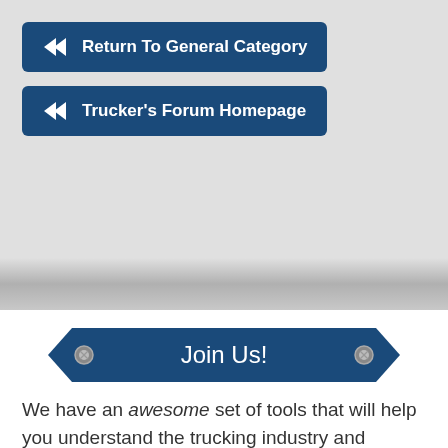[Figure (other): Navigation button: double left arrow icon followed by text 'Return To General Category' on a dark blue rounded rectangle background]
[Figure (other): Navigation button: double left arrow icon followed by text 'Trucker's Forum Homepage' on a dark blue rounded rectangle background]
[Figure (other): Dark blue arrow/banner shape with silver bolts on each side containing the text 'Join Us!']
We have an awesome set of tools that will help you understand the trucking industry and prepare for a great start to your trucking career. Not only that,